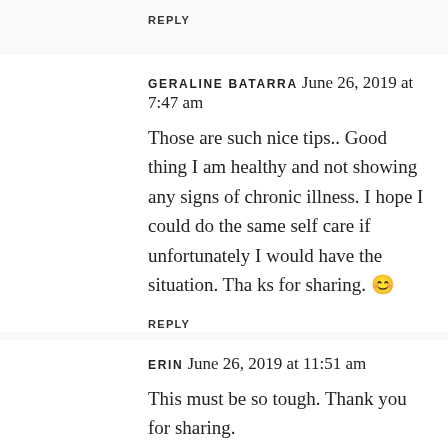REPLY
GERALINE BATARRA  June 26, 2019 at 7:47 am
Those are such nice tips.. Good thing I am healthy and not showing any signs of chronic illness. I hope I could do the same self care if unfortunately I would have the situation. Tha ks for sharing. 😊
REPLY
ERIN  June 26, 2019 at 11:51 am
This must be so tough. Thank you for sharing.
REPLY